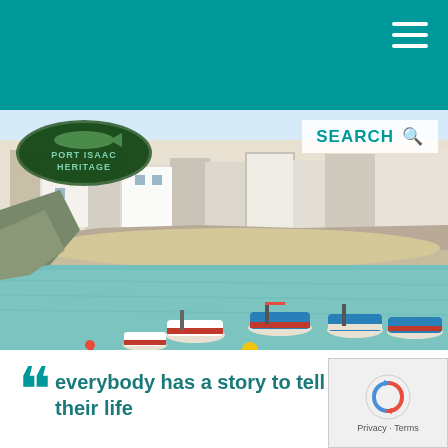Port Isaac Heritage — navigation header with teal background and hamburger menu
[Figure (photo): Aerial/elevated photo of Port Isaac harbour with fishing boats moored in turquoise water, stone buildings and white houses on hillside behind, sandy beach area visible]
[Figure (logo): Port Isaac Heritage logo — oval shape with fish imagery, text reads PORT ISAAC HERITAGE]
SEARCH
everybody has a story to tell about their life